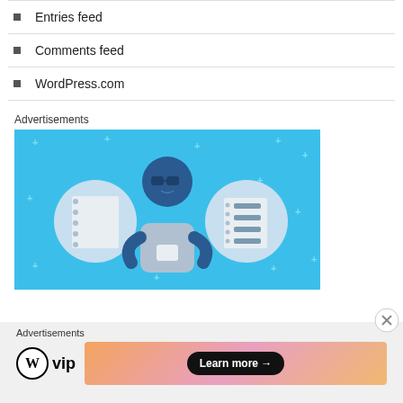Entries feed
Comments feed
WordPress.com
Advertisements
[Figure (illustration): Advertisement illustration showing a cartoon man with glasses and beard holding a phone, flanked by two circular icons containing notebook images, on a blue background with sparkle decorations.]
Advertisements
[Figure (logo): WordPress VIP logo (W circle + 'vip' text) alongside a gradient banner with a 'Learn more →' button]